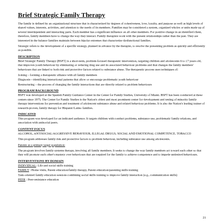Brief Strategic Family Therapy
The family is defined by an organizational structure that is characterized by degrees of cohesiveness, love, loyalty, and purpose as well as high levels of shared values, interests, activities, and attention to the needs of its members. Families may be considered a system, organized wholes or units made up of several interdependent and interacting parts. Each member has a significant influence on all other members. For positive change in an identified client, therefore, family members have to change the way they interact. Family therapists work with the present relationships rather than the past. They are interested in the balance families maintain between bipolar extremes that characterize dysfunctional families.
Strategic refers to the development of a specific strategy, planned in advance by the therapist, to resolve the presenting problem as quickly and efficiently as possible.
DESCRIPTION
Brief Strategic Family Therapy (BSFT) is a short-term, problem-focused therapeutic intervention, targeting children and adolescents 6 to 17 years old, that improves youth behaviour by eliminating or reducing drug use and its associated behaviour problems and that changes the family members' behaviours that are linked to both risk and protective factors related to substance abuse. The therapeutic process uses techniques of:
Joining – forming a therapeutic alliance with all family members
Diagnosis—identifying interactional patterns that allow or encourage problematic youth behaviour
Restructuring – the process of changing the family interactions that are directly related to problem behaviours
PROGRAM BACKGROUND
BSFT was developed at the Spanish Family Guidance Center in the Center for Family Studies, University of Miami. BSFT has been conducted at these centers since 1975. The Center for Family Studies is the Nation's oldest and most prominent center for development and testing of minority family therapy interventions for prevention and treatment of adolescent substance abuse and related behaviour problems. It is also the Nation's leading trainer of research-proven, family therapy for Hispanic/Latino families.
INDICATED
This program was developed for an indicated audience. It targets children with conduct problems, substance use, problematic family relations, and association with antisocial peers.
CONTENT FOCUS
ALCOHOL, ANTISOCIAL/AGGRESSIVE BEHAVIOUR, ILLEGAL DRUGS, SOCIAL AND EMOTIONAL COMPETENCE, TOBACCO
This program addresses family risk and protective factors to problem behaviour, including substance use among adolescents.
Parents as a primary target population:
The program involves family systems therapy, involving all family members. It seeks to change the way family members act toward each other so that they will promote each other's mastery over behaviours that are required for the family to achieve competence and to impede undesired behaviours.
INTERVENTIONS BY DOMAIN
INDIVIDUAL: Life and social skills training
FAMILY : Home visits, Parent education/family therapy, Parent education/parenting skills training
Task-oriented family education sessions combining social skills training to improve family interaction (e.g., communication skills)
PEER : Peer-resistance education
21